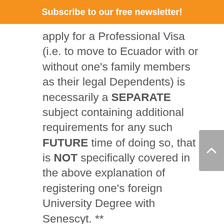Subscribe to our free newsletter!
apply for a Professional Visa (i.e. to move to Ecuador with or without one's family members as their legal Dependents) is necessarily a SEPARATE subject containing additional requirements for any such FUTURE time of doing so, that is NOT specifically covered in the above explanation of registering one's foreign University Degree with Senescyt. **
If like so many other Expats, you too wish to